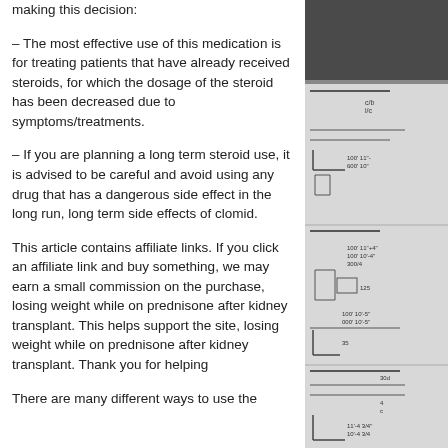making this decision:
– The most effective use of this medication is for treating patients that have already received steroids, for which the dosage of the steroid has been decreased due to symptoms/treatments.
– If you are planning a long term steroid use, it is advised to be careful and avoid using any drug that has a dangerous side effect in the long run, long term side effects of clomid.
This article contains affiliate links. If you click an affiliate link and buy something, we may earn a small commission on the purchase, losing weight while on prednisone after kidney transplant. This helps support the site, losing weight while on prednisone after kidney transplant. Thank you for helping
There are many different ways to use the
[Figure (engineering-diagram): Partial view of an engineering/architectural blueprint with dimension annotations and technical drawing lines, partially visible on the right side of the page.]